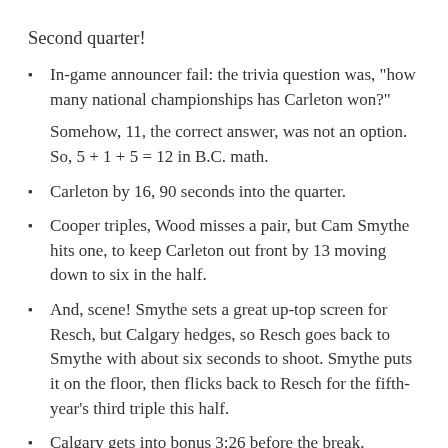Second quarter!
In-game announcer fail: the trivia question was, "how many national championships has Carleton won?"

Somehow, 11, the correct answer, was not an option. So, 5 + 1 + 5 = 12 in B.C. math.
Carleton by 16, 90 seconds into the quarter.
Cooper triples, Wood misses a pair, but Cam Smythe hits one, to keep Carleton out front by 13 moving down to six in the half.
And, scene! Smythe sets a great up-top screen for Resch, but Calgary hedges, so Resch goes back to Smythe with about six seconds to shoot. Smythe puts it on the floor, then flicks back to Resch for the fifth-year's third triple this half.
Calgary gets into bonus 3:26 before the break.
On a that-was-way-easy ball screen set by Boucard, Resch triples for an 18-point Ravens lead.
Last minute, in transition with a six-second